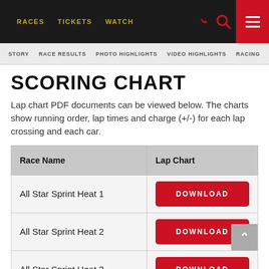RACES   TICKETS   WATCH
STORY   RACE RESULTS   PHOTO HIGHLIGHTS   VIDEO HIGHLIGHTS   RACING
SCORING CHART
Lap chart PDF documents can be viewed below. The charts show running order, lap times and charge (+/-) for each lap crossing and each car.
| Race Name | Lap Chart |
| --- | --- |
| All Star Sprint Heat 1 | DOWNLOAD |
| All Star Sprint Heat 2 | DOWNLOAD |
| All Star Sprint Heat 3 | DOWNLOAD |